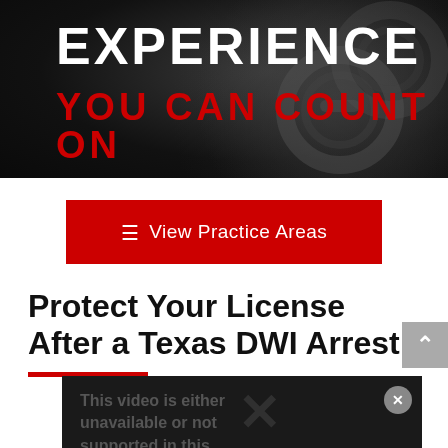[Figure (photo): Dark hero banner with handcuffs in background]
EXPERIENCE YOU CAN COUNT ON
[Figure (other): Red button: View Practice Areas with hamburger menu icon]
Protect Your License After a Texas DWI Arrest
[Figure (screenshot): Dark video player placeholder showing 'This video is either unavailable or not supported in this' with X icon and close button]